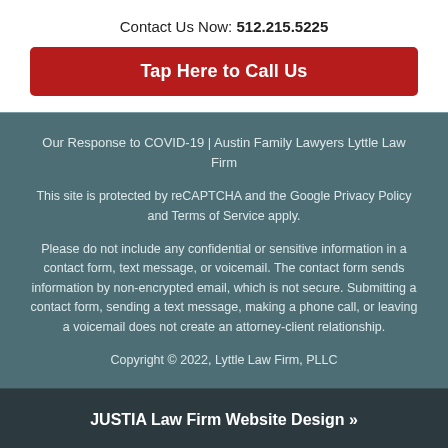Contact Us Now: 512.215.5225
Tap Here to Call Us
Our Response to COVID-19 | Austin Family Lawyers Lyttle Law Firm
This site is protected by reCAPTCHA and the Google Privacy Policy and Terms of Service apply.
Please do not include any confidential or sensitive information in a contact form, text message, or voicemail. The contact form sends information by non-encrypted email, which is not secure. Submitting a contact form, sending a text message, making a phone call, or leaving a voicemail does not create an attorney-client relationship.
Copyright © 2022, Lyttle Law Firm, PLLC
JUSTIA Law Firm Website Design »